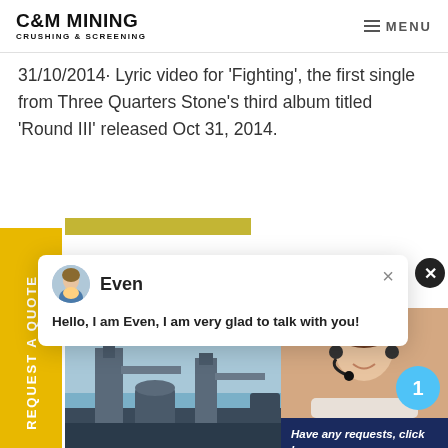C&M MINING CRUSHING & SCREENING | MENU
31/10/2014· Lyric video for 'Fighting', the first single from Three Quarters Stone's third album titled 'Round III' released Oct 31, 2014.
[Figure (screenshot): Chat popup with avatar of agent named Even, message: Hello, I am Even, I am very glad to talk with you!]
[Figure (photo): Mining equipment - industrial crushing and screening machinery outdoors]
[Figure (photo): Customer service agent photo with headset, notification badge showing 1, and request box with Quotation button]